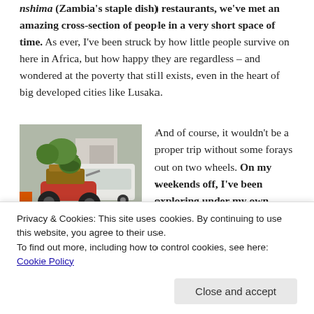nshima (Zambia's staple dish) restaurants, we've met an amazing cross-section of people in a very short space of time. As ever, I've been struck by how little people survive on here in Africa, but how happy they are regardless – and wondered at the poverty that still exists, even in the heart of big developed cities like Lusaka.
[Figure (photo): A motorcycle loaded with goods parked on a street in Lusaka, Zambia, with a white SUV and buildings visible in the background.]
And of course, it wouldn't be a proper trip without some forays out on two wheels. On my weekends off, I've been exploring under my own steam on a little Chinese-
Privacy & Cookies: This site uses cookies. By continuing to use this website, you agree to their use. To find out more, including how to control cookies, see here: Cookie Policy
quick reflexes have been required on many an occasion: the